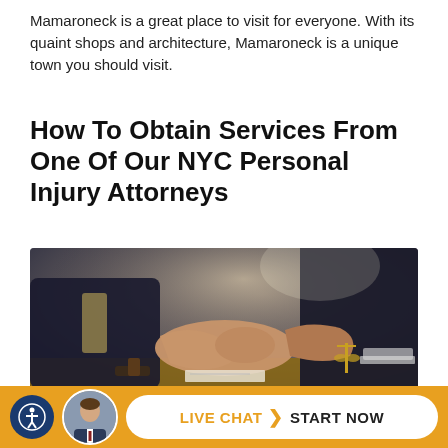Mamaroneck is a great place to visit for everyone. With its quaint shops and architecture, Mamaroneck is a unique town you should visit.
How To Obtain Services From One Of Our NYC Personal Injury Attorneys
[Figure (photo): Two people shaking hands across a desk in a professional legal office setting, with a judge's gavel and scales of justice visible on the desk, and a laptop open in the background.]